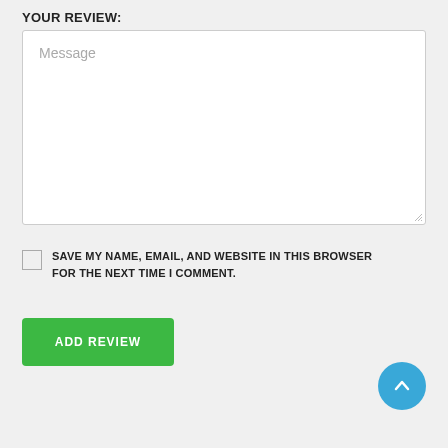YOUR REVIEW:
[Figure (screenshot): A textarea input field with placeholder text 'Message' and a resize handle in the bottom-right corner]
SAVE MY NAME, EMAIL, AND WEBSITE IN THIS BROWSER FOR THE NEXT TIME I COMMENT.
[Figure (other): Green button labeled 'ADD REVIEW']
[Figure (other): Blue circular scroll-to-top button with upward chevron arrow]